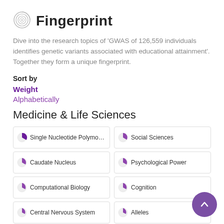Fingerprint
Dive into the research topics of 'GWAS of 126,559 individuals identifies genetic variants associated with educational attainment'. Together they form a unique fingerprint.
Sort by
Weight
Alphabetically
Medicine & Life Sciences
Single Nucleotide Polymorphism
Social Sciences
Caudate Nucleus
Psychological Power
Computational Biology
Cognition
Central Nervous System
Alleles